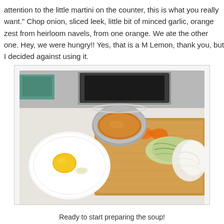attention to the little martini on the counter, this is what you really want." Chop onion, sliced leek, little bit of minced garlic, orange zest from heirloom navels, from one orange. We ate the other one. Hey, we were hungry!! Yes, that is a M Lemon, thank you, but I decided against using it.
[Figure (photo): A kitchen counter scene showing a white plate with a small yellow lemon and minced garlic, a stainless steel bowl with liquid, orange zest curls on a wooden cutting board, and a pile of sliced leeks and chopped onion on the cutting board. A stovetop is visible in the background.]
Ready to start preparing the soup!